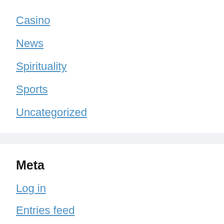Casino
News
Spirituality
Sports
Uncategorized
Meta
Log in
Entries feed
Comments feed
WordPress.org